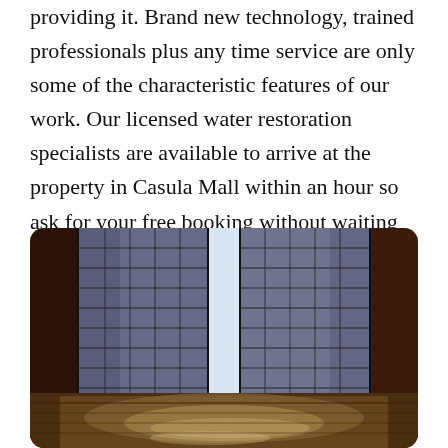providing it. Brand new technology, trained professionals plus any time service are only some of the characteristic features of our work. Our licensed water restoration specialists are available to arrive at the property in Casula Mall within an hour so ask for your free booking without waiting any longer.
[Figure (photo): Interior room with flooded floor, ornate latticed windows/doors in background, reflective water on wooden floor, dark doorframe on left side]